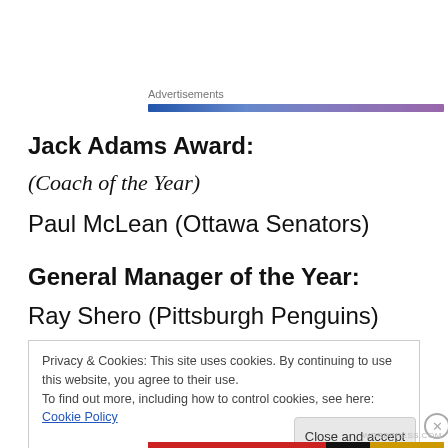Advertisements
Jack Adams Award:
(Coach of the Year)
Paul McLean (Ottawa Senators)
General Manager of the Year:
Ray Shero (Pittsburgh Penguins)
Privacy & Cookies: This site uses cookies. By continuing to use this website, you agree to their use.
To find out more, including how to control cookies, see here: Cookie Policy